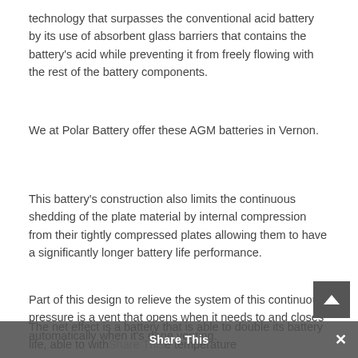technology that surpasses the conventional acid battery by its use of absorbent glass barriers that contains the battery's acid while preventing it from freely flowing with the rest of the battery components.
We at Polar Battery offer these AGM batteries in Vernon.
This battery's construction also limits the continuous shedding of the plate material by internal compression from their tightly compressed plates allowing them to have a significantly longer battery life performance.
Part of this design to relieve the system of this continuous pressure is a vent that opens when it needs to and closes automatically when it's done venting.
The net effect is a battery that is able to double its battery life, able to withstand extreme temperature changes, and can be used in most conditions, while...